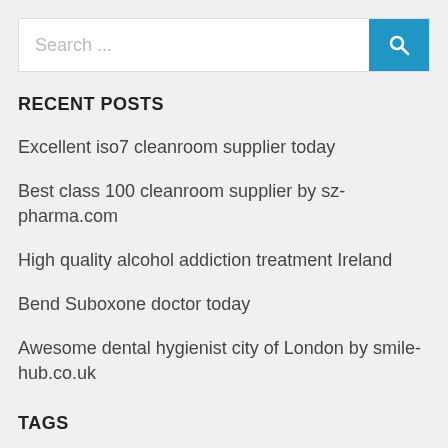[Figure (other): Search bar with text input placeholder 'Search ...' and blue search button with magnifying glass icon]
RECENT POSTS
Excellent iso7 cleanroom supplier today
Best class 100 cleanroom supplier by sz-pharma.com
High quality alcohol addiction treatment Ireland
Bend Suboxone doctor today
Awesome dental hygienist city of London by smile-hub.co.uk
TAGS
Aflac, babies, baby, bad, benefits, benefits of fish, best grooming, better, Blood Pressure, brain